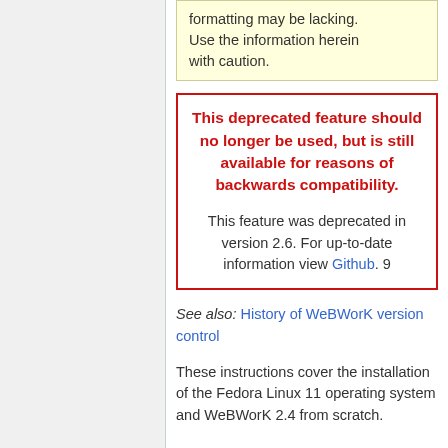formatting may be lacking. Use the information herein with caution.
This deprecated feature should no longer be used, but is still available for reasons of backwards compatibility.

This feature was deprecated in version 2.6. For up-to-date information view Github. 9
See also: History of WeBWorK version control
These instructions cover the installation of the Fedora Linux 11 operating system and WeBWorK 2.4 from scratch.